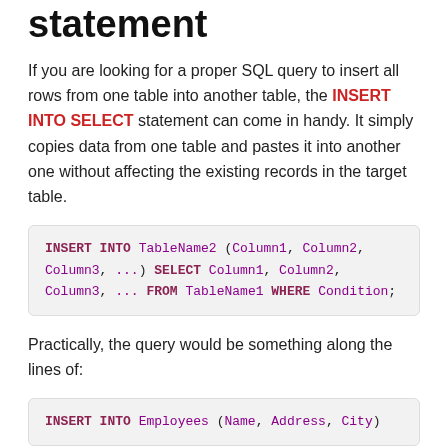statement
If you are looking for a proper SQL query to insert all rows from one table into another table, the INSERT INTO SELECT statement can come in handy. It simply copies data from one table and pastes it into another one without affecting the existing records in the target table.
Practically, the query would be something along the lines of: